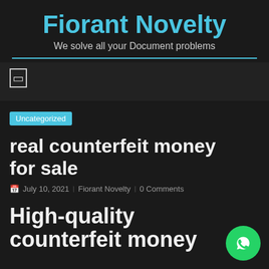Fiorant Novelty
We solve all your Document problems
☰
Uncategorized
real counterfeit money for sale
July 10, 2021  |  Fiorant Novelty  |  0 Comments
High-quality counterfeit money
[Figure (logo): WhatsApp floating button icon, green circle with white phone handset]